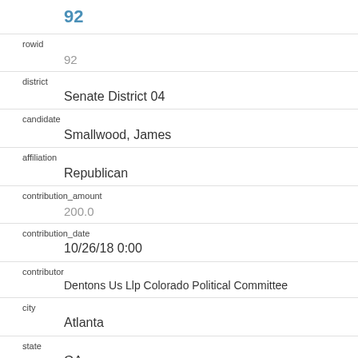92
rowid
92
district
Senate District 04
candidate
Smallwood, James
affiliation
Republican
contribution_amount
200.0
contribution_date
10/26/18 0:00
contributor
Dentons Us Llp Colorado Political Committee
city
Atlanta
state
GA
zip